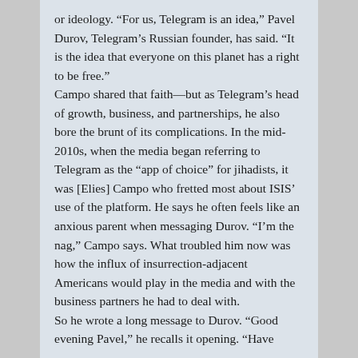or ideology. “For us, Telegram is an idea,” Pavel Durov, Telegram’s Russian founder, has said. “It is the idea that everyone on this planet has a right to be free.”
Campo shared that faith—but as Telegram’s head of growth, business, and partnerships, he also bore the brunt of its complications. In the mid-2010s, when the media began referring to Telegram as the “app of choice” for jihadists, it was [Elies] Campo who fretted most about ISIS’ use of the platform. He says he often feels like an anxious parent when messaging Durov. “I’m the nag,” Campo says. What troubled him now was how the influx of insurrection-adjacent Americans would play in the media and with the business partners he had to deal with.
So he wrote a long message to Durov. “Good evening Pavel,” he recalls it opening. “Have